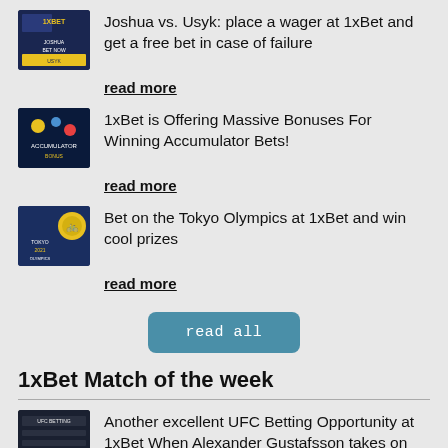Joshua vs. Usyk: place a wager at 1xBet and get a free bet in case of failure
read more
1xBet is Offering Massive Bonuses For Winning Accumulator Bets!
read more
Bet on the Tokyo Olympics at 1xBet and win cool prizes
read more
read all
1xBet Match of the week
Another excellent UFC Betting Opportunity at 1xBet When Alexander Gustafsson takes on Fabricio Werdum
read more